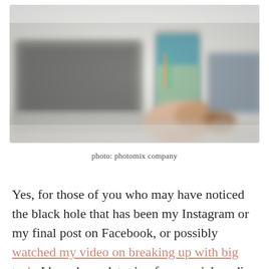[Figure (photo): Blurred photo showing a laptop, smartphone being held, and other tech devices on a desk surface with soft bokeh effect]
photo: photomix company
Yes, for those of you who may have noticed the black hole that has been my Instagram or my final post on Facebook, or possibly watched my video on breaking up with big tech, I have been detoxing from social media